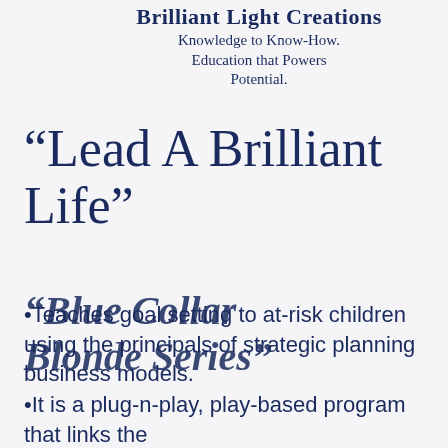Brilliant Light Creations
Knowledge to Know-How. Education that Powers Potential.
“Lead A Brilliant Life”
“Blue Collar Blonde Series”
•Teaches goal setting to at-risk children using the principals of strategic planning business models.
•It is a plug-n-play, play-based program that links the